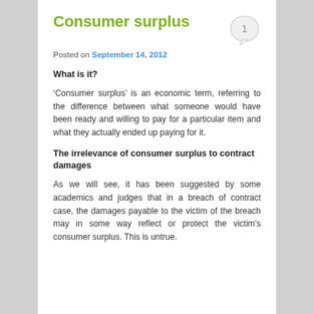Consumer surplus
Posted on September 14, 2012
What is it?
‘Consumer surplus’ is an economic term, referring to the difference between what someone would have been ready and willing to pay for a particular item and what they actually ended up paying for it.
The irrelevance of consumer surplus to contract damages
As we will see, it has been suggested by some academics and judges that in a breach of contract case, the damages payable to the victim of the breach may in some way reflect or protect the victim’s consumer surplus. This is untrue.